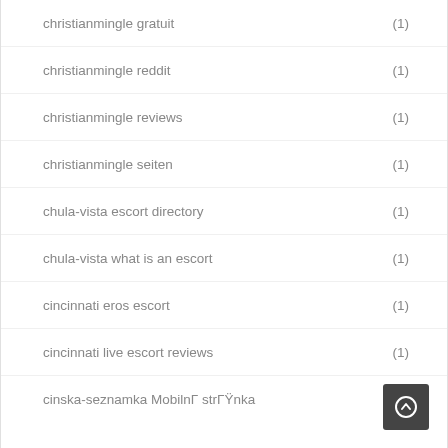christianmingle gratuit (1)
christianmingle reddit (1)
christianmingle reviews (1)
christianmingle seiten (1)
chula-vista escort directory (1)
chula-vista what is an escort (1)
cincinnati eros escort (1)
cincinnati live escort reviews (1)
cinska-seznamka MobilnΓ strΓŸnka